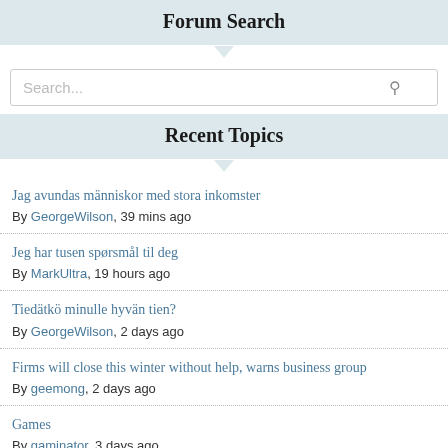Forum Search
Search...
Recent Topics
Jag avundas människor med stora inkomster
By GeorgeWilson, 39 mins ago
Jeg har tusen spørsmål til deg
By MarkUltra, 19 hours ago
Tiedätkö minulle hyvän tien?
By GeorgeWilson, 2 days ago
Firms will close this winter without help, warns business group
By geemong, 2 days ago
Games
By gaminator, 3 days ago